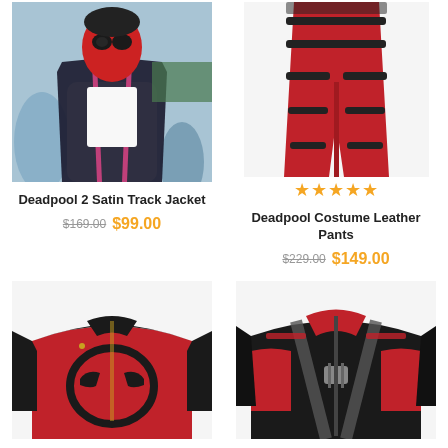[Figure (photo): Person wearing a Deadpool mask and black satin track jacket with pink stripes, standing outdoors]
Deadpool 2 Satin Track Jacket
$169.00 $99.00
[Figure (photo): Red leather pants with black strap details, displayed on a mannequin, Deadpool costume style]
Deadpool Costume Leather Pants
$229.00 $149.00
[Figure (photo): Red and black leather jacket with Deadpool face logo on the chest]
[Figure (photo): Black and red leather jacket with harness straps, Deadpool style]